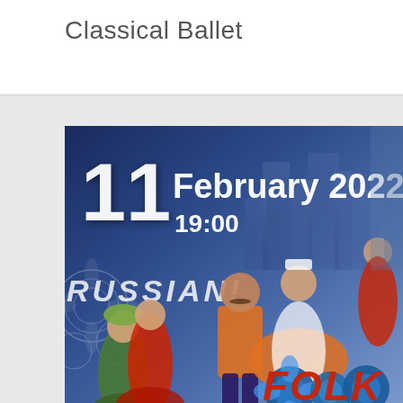Classical Ballet
[Figure (illustration): Event poster for a Russian folk dance and classical ballet performance on 11 February 2022 at 19:00. The poster features dancers in traditional Russian costumes on a blue ornamental background. Text shows '11 February 2022 19:00', 'RUSSIAN!' and 'FOLK' in the foreground.]